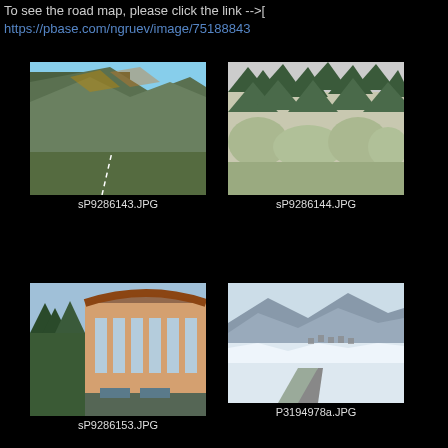To see the road map, please click the link -->[ https://pbase.com/ngruev/image/75188843
[Figure (photo): Mountain road with forested hillside, autumn colors]
sP9286143.JPG
[Figure (photo): Dense evergreen and deciduous forest on hillside]
sP9286144.JPG
[Figure (photo): Modern building with curved roof and large windows, surrounded by pine trees]
sP9286153.JPG
[Figure (photo): Snow-covered mountain valley landscape with road]
P3194978a.JPG